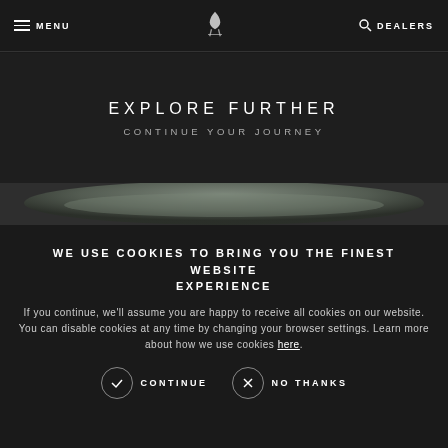MENU | [logo] | DEALERS
EXPLORE FURTHER
CONTINUE YOUR JOURNEY
[Figure (photo): Top view of a Rolls-Royce car bonnet/hood in grey, horizontal banner image]
WE USE COOKIES TO BRING YOU THE FINEST WEBSITE EXPERIENCE
If you continue, we'll assume you are happy to receive all cookies on our website. You can disable cookies at any time by changing your browser settings. Learn more about how we use cookies here.
CONTINUE | NO THANKS